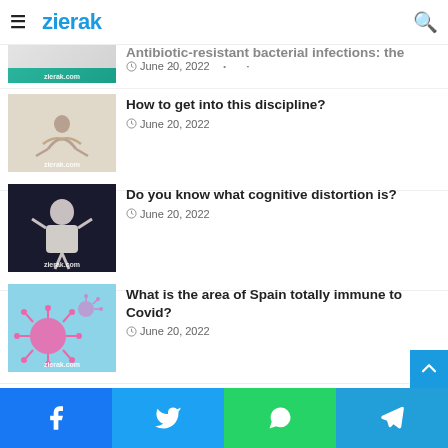zierak
Antibiotic-resistant bacterial infections: the upcoming pandemic
June 20, 2022
How to get into this discipline?
June 20, 2022
Do you know what cognitive distortion is?
June 20, 2022
What is the area of Spain totally immune to Covid?
June 20, 2022
Recent Posts